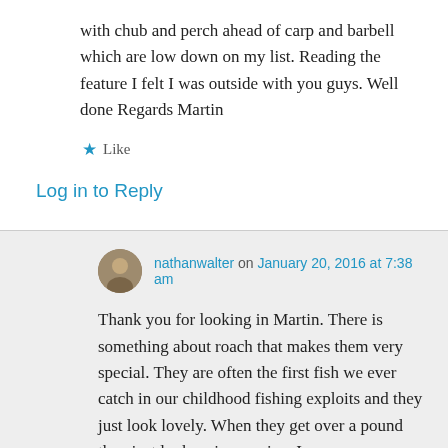with chub and perch ahead of carp and barbell which are low down on my list. Reading the feature I felt I was outside with you guys. Well done Regards Martin
★ Like
Log in to Reply
nathanwalter on January 20, 2016 at 7:38 am
Thank you for looking in Martin. There is something about roach that makes them very special. They are often the first fish we ever catch in our childhood fishing exploits and they just look lovely. When they get over a pound they just look so impressive, I